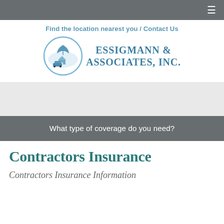≡
Find the location nearest you / Contact Us
[Figure (logo): Essigmann & Associates, Inc. logo with circular emblem showing umbrella, house, and vehicle in blue tones]
What type of coverage do you need?
Contractors Insurance
Contractors Insurance Information